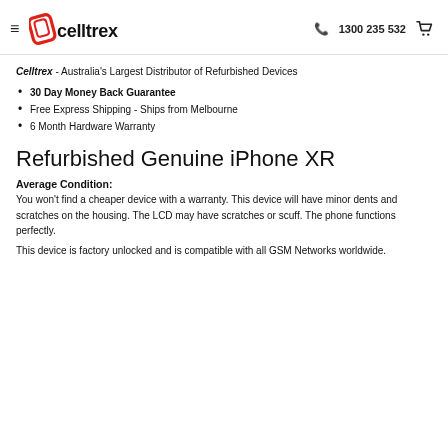celltrex. | 1300 235 532
Celltrex - Australia's Largest Distributor of Refurbished Devices
30 Day Money Back Guarantee
Free Express Shipping - Ships from Melbourne
6 Month Hardware Warranty
Refurbished Genuine iPhone XR
Average Condition:
You won't find a cheaper device with a warranty. This device will have minor dents and scratches on the housing. The LCD may have scratches or scuff. The phone functions perfectly.
This device is factory unlocked and is compatible with all GSM Networks worldwide.